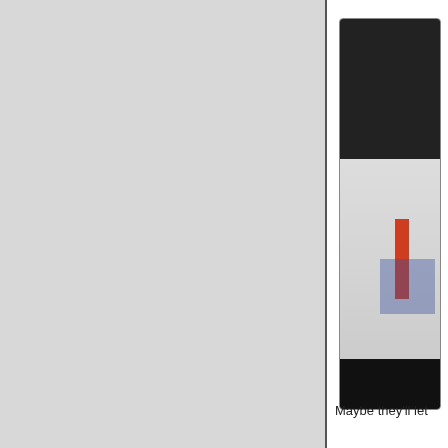[Figure (photo): Left panel showing a large grey/light background area occupying roughly the left two-thirds of the page]
[Figure (photo): Right panel with a white background containing a partially visible photo card with dark, red, and blue color strips]
Maybe they'll let